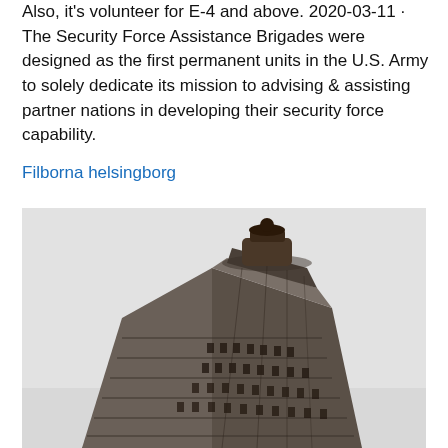Also, it's volunteer for E-4 and above. 2020-03-11 · The Security Force Assistance Brigades were designed as the first permanent units in the U.S. Army to solely dedicate its mission to advising & assisting partner nations in developing their security force capability.
Filborna helsingborg
[Figure (photo): Black and white photograph of the top portion of the Flatiron Building in New York City, showing its distinctive triangular wedge shape against a light grey sky.]